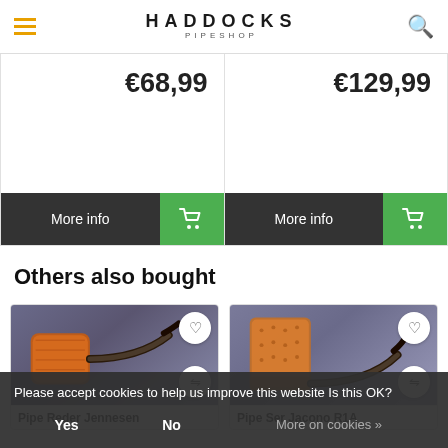HADDOCKS PIPESHOP
€68,99
More info
€129,99
More info
Others also bought
[Figure (photo): Pipe product card - Pipe Reder Jennesen]
Pipe Reder Jennesen
[Figure (photo): Pipe product card - Pipe Ser Jacono R1A]
Pipe Ser Jacono R1A
Please accept cookies to help us improve this website Is this OK?
Yes
No
More on cookies »